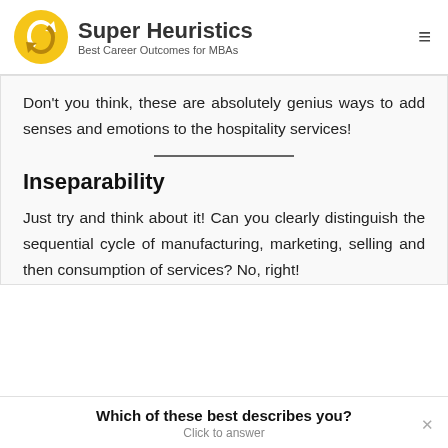Super Heuristics — Best Career Outcomes for MBAs
Don't you think, these are absolutely genius ways to add senses and emotions to the hospitality services!
Inseparability
Just try and think about it! Can you clearly distinguish the sequential cycle of manufacturing, marketing, selling and then consumption of services? No, right!
Which of these best describes you? Click to answer